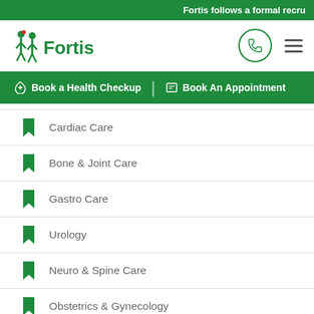Fortis follows a formal recru
[Figure (logo): Fortis Healthcare logo with green human figure icons and 'Fortis' text in green]
☎ Book a Health Checkup  |  📋 Book An Appointment
Cardiac Care
Bone & Joint Care
Gastro Care
Urology
Neuro & Spine Care
Obstetrics & Gynecology
Liver Care
Live Chat